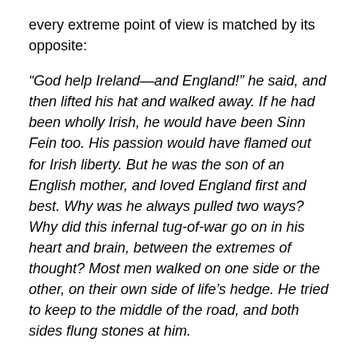every extreme point of view is matched by its opposite:
“God help Ireland—and England!” he said, and then lifted his hat and walked away. If he had been wholly Irish, he would have been Sinn Fein too. His passion would have flamed out for Irish liberty. But he was the son of an English mother, and loved England first and best. Why was he always pulled two ways? Why did this infernal tug-of-war go on in his heart and brain, between the extremes of thought? Most men walked on one side or the other, on their own side of life’s hedge. He tried to keep to the middle of the road, and both sides flung stones at him.
“It’s all very difficult!” he often remarks, and carries on gloomily.
The other great issue of the day is a potential miner’s